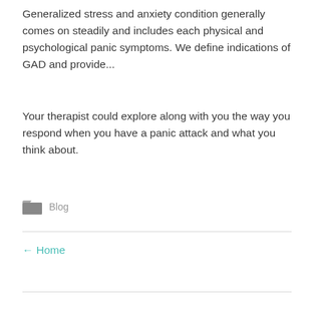Generalized stress and anxiety condition generally comes on steadily and includes each physical and psychological panic symptoms. We define indications of GAD and provide...
Your therapist could explore along with you the way you respond when you have a panic attack and what you think about.
Blog
← Home